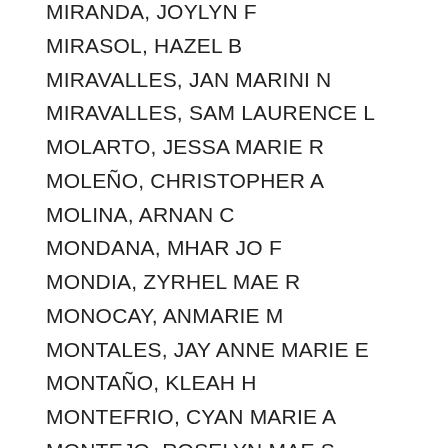MIRANDA, JOYLYN F
MIRASOL, HAZEL B
MIRAVALLES, JAN MARINI N
MIRAVALLES, SAM LAURENCE L
MOLARTO, JESSA MARIE R
MOLEÑO, CHRISTOPHER A
MOLINA, ARNAN C
MONDANA, MHAR JO F
MONDIA, ZYRHEL MAE R
MONOCAY, ANMARIE M
MONTALES, JAY ANNE MARIE E
MONTAÑO, KLEAH H
MONTEFRIO, CYAN MARIE A
MONTEJO, ROSELYN MAE S